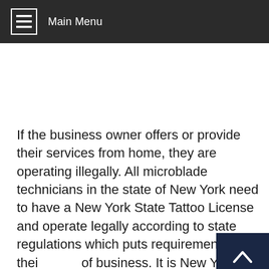Main Menu
If the business owner offers or provide their services from home, they are operating illegally. All microblade technicians in the state of New York need to have a New York State Tattoo License and operate legally according to state regulations which puts requirements onto their place of business. It is New York State Law that a single use sterilized needle is shown to every client before the procedure. The client must also sign a release stating they were shown their individual needle. If your microblade artist does not do this, you should rethink deciding on that particular place of business. Gloves should be on to open the pre-sterilized needle and remain on the artist until the